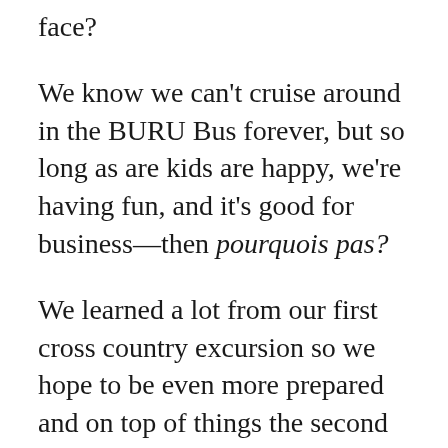face?
We know we can't cruise around in the BURU Bus forever, but so long as are kids are happy, we're having fun, and it's good for business—then pourquois pas?
We learned a lot from our first cross country excursion so we hope to be even more prepared and on top of things the second time around.